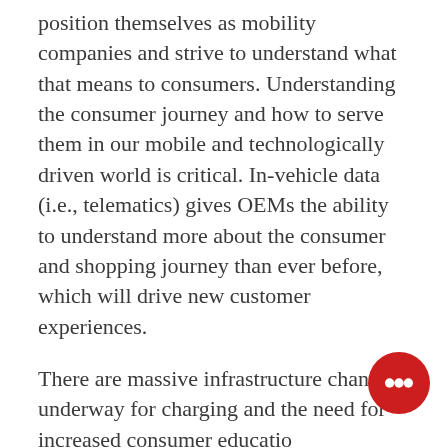position themselves as mobility companies and strive to understand what that means to consumers. Understanding the consumer journey and how to serve them in our mobile and technologically driven world is critical. In-vehicle data (i.e., telematics) gives OEMs the ability to understand more about the consumer and shopping journey than ever before, which will drive new customer experiences.
There are massive infrastructure changes underway for charging and the need for increased consumer education around electrification. There has been a major increase in electrified-only vehicle